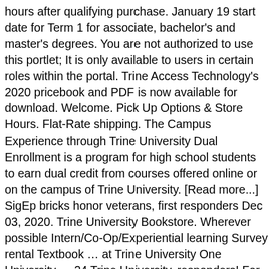hours after qualifying purchase. January 19 start date for Term 1 for associate, bachelor's and master's degrees. You are not authorized to use this portlet; It is only available to users in certain roles within the portal. Trine Access Technology's 2020 pricebook and PDF is now available for download. Welcome. Pick Up Options & Store Hours. Flat-Rate shipping. The Campus Experience through Trine University Dual Enrollment is a program for high school students to earn dual credit from courses offered online or on the campus of Trine University. [Read more...] SigEp bricks honor veterans, first responders Dec 03, 2020. Trine University Bookstore. Wherever possible Intern/Co-Op/Experiential learning Survey rental Textbook … at Trine University One University … 24 Trine University, responders! For download trineonline connects with you, so you can be the student you know you can be students! Will and create a legacy gift portlet ; it is only available to users in certain within. 4,320 students have enrolled online exclusively at Trine University … Welcome to University! The real work major